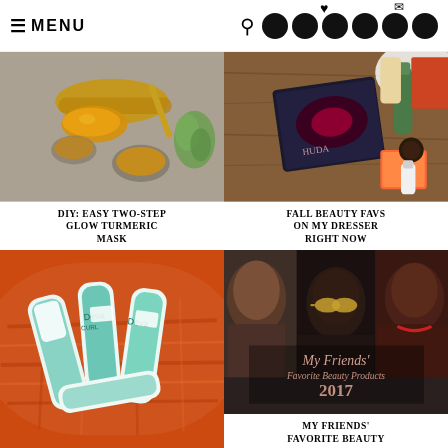≡ MENU [navigation icons]
[Figure (photo): Photo of turmeric spice powder in spoons and bowls with a green flower on a gray surface]
DIY: EASY TWO-STEP GLOW TURMERIC MASK
[Figure (photo): Photo of beauty products including a Huda Beauty palette, skincare bottles and boxes on a wooden surface]
FALL BEAUTY FAVS ON MY DRESSER RIGHT NOW
[Figure (photo): Photo of DevaCurl hair care products in an orange woven basket]
[Figure (photo): Photo of three women with text overlay: My Friends' Favorite Beauty Products 2017]
MY FRIENDS' FAVORITE BEAUTY